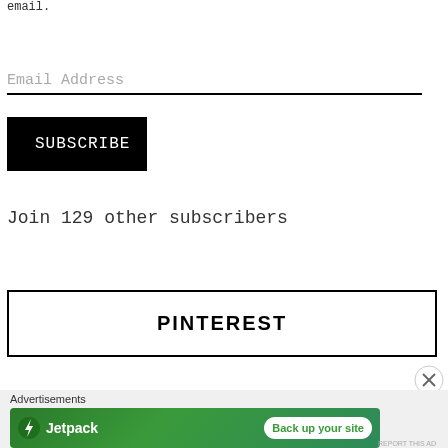email.
Email Address
SUBSCRIBE
Join 129 other subscribers
PINTEREST
[Figure (other): Jetpack advertisement banner with green background, Jetpack logo on the left and 'Back up your site' button on the right]
Advertisements